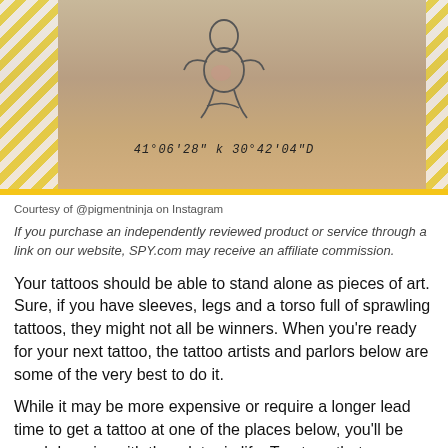[Figure (photo): Photo of a tattoo on skin showing a baby/figure illustration with coordinates text '41°06'28" k 30°42'04"D' inscribed below it, with yellow diagonal stripe decorative borders on left and right sides]
Courtesy of @pigmentninja on Instagram
If you purchase an independently reviewed product or service through a link on our website, SPY.com may receive an affiliate commission.
Your tattoos should be able to stand alone as pieces of art. Sure, if you have sleeves, legs and a torso full of sprawling tattoos, they might not all be winners. When you're ready for your next tattoo, the tattoo artists and parlors below are some of the very best to do it.
While it may be more expensive or require a longer lead time to get a tattoo at one of the places below, you'll be much happier with them later in life. Trust us, that one you picked off the wall at some hole-in-the-